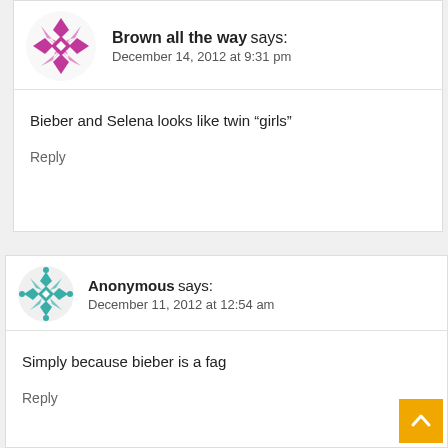Brown all the way says: December 14, 2012 at 9:31 pm
Bieber and Selena looks like twin “girls”
Reply
Anonymous says: December 11, 2012 at 12:54 am
Simply because bieber is a fag
Reply